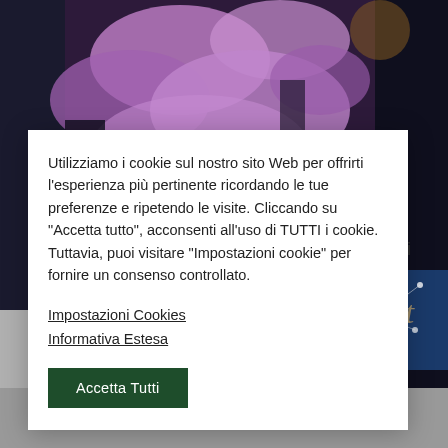[Figure (photo): Cherry blossom tree with pink/purple flowers at night, dark background, partially visible on right side of page]
Utilizziamo i cookie sul nostro sito Web per offrirti l'esperienza più pertinente ricordando le tue preferenze e ripetendo le visite. Cliccando su "Accetta tutto", acconsenti all'uso di TUTTI i cookie. Tuttavia, puoi visitare "Impostazioni cookie" per fornire un consenso controllato.
Impostazioni Cookies
Informativa Estesa
Accetta Tutti